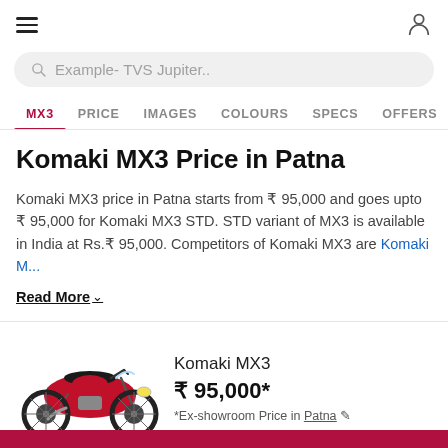☰  (hamburger menu) | (user icon)
Example- TVS Jupiter..
MX3  PRICE  IMAGES  COLOURS  SPECS  OFFERS  REV...
Komaki MX3 Price in Patna
Komaki MX3 price in Patna starts from ₹ 95,000 and goes upto ₹ 95,000 for Komaki MX3 STD. STD variant of MX3 is available in India at Rs.₹ 95,000. Competitors of Komaki MX3 are Komaki M...
Read More
[Figure (photo): Red Komaki MX3 motorcycle facing left]
Komaki MX3
₹ 95,000*
*Ex-showroom Price in Patna ✎